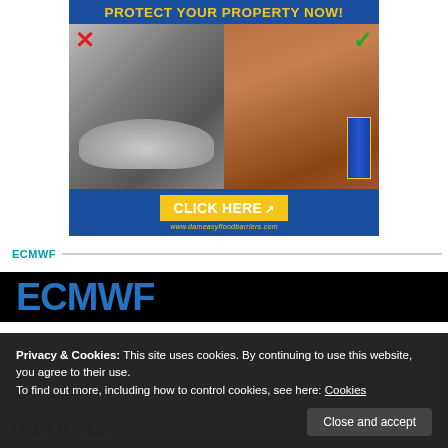[Figure (illustration): Flood protection advertisement banner. Blue background with yellow bold text 'PROTECT YOUR PROPERTY NOW!' at top. Two side-by-side photos: left is black-and-white image of sandbags piled against a door with a red X mark; right is color image of a person installing a blue flood barrier at a red door with a green checkmark. Bottom has yellow 'CLICK HERE' button with cursor icon. URL: www.dameasyfloodbarriers.com]
ECMWF
[Figure (logo): ECMWF logo text in blue on dark/black background, partially visible]
Privacy & Cookies: This site uses cookies. By continuing to use this website, you agree to their use.
To find out more, including how to control cookies, see here: Cookies
Close and accept
LATEST ARTICLES